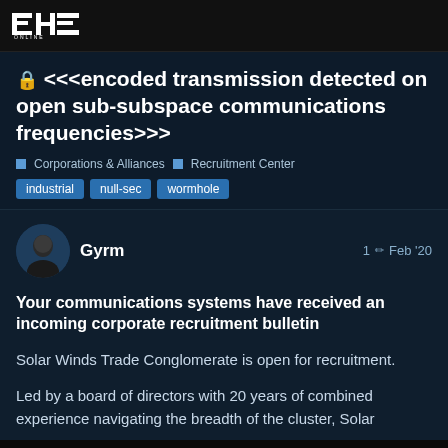EVE ONLINE
<<<encoded transmission detected on open sub-subspace communications frequencies>>>
Corporations & Alliances  Recruitment Center
industrial
null-sec
wormhole
Gyrm  1  Feb '20
Your communications systems have received an incoming corporate recruitment bulletin
Solar Winds Trade Conglomerate is open for recruitment.
Led by a board of directors with 20 years of combined experience navigating the breadth of the cluster, Solar